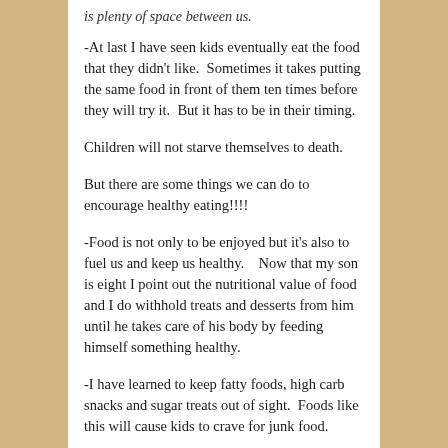is plenty of space between us.
-At last I have seen kids eventually eat the food that they didn't like.  Sometimes it takes putting the same food in front of them ten times before they will try it.  But it has to be in their timing.
Children will not starve themselves to death.
But there are some things we can do to encourage healthy eating!!!!
-Food is not only to be enjoyed but it's also to fuel us and keep us healthy.    Now that my son is eight I point out the nutritional value of food and I do withhold treats and desserts from him until he takes care of his body by feeding himself something healthy.
-I have learned to keep fatty foods, high carb snacks and sugar treats out of sight.  Foods like this will cause kids to crave for junk food.